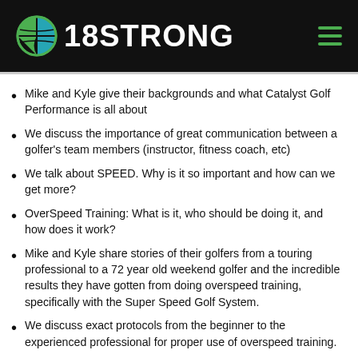18STRONG
Mike and Kyle give their backgrounds and what Catalyst Golf Performance is all about
We discuss the importance of great communication between a golfer's team members (instructor, fitness coach, etc)
We talk about SPEED.  Why is it so important and how can we get more?
OverSpeed Training: What is it, who should be doing it, and how does it work?
Mike and Kyle share stories of their golfers from a touring professional to a 72 year old weekend golfer and the incredible results they have gotten from doing overspeed training, specifically with the Super Speed Golf System.
We discuss exact protocols from the beginner to the experienced professional for proper use of overspeed training.